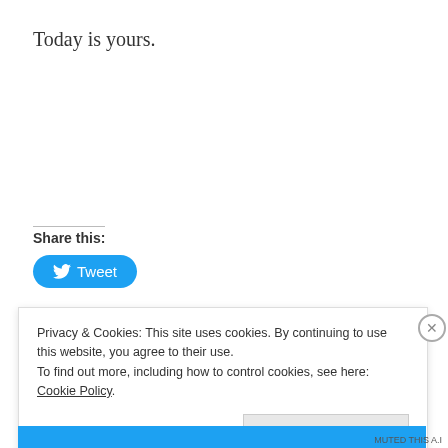Today is yours.
Share this:
[Figure (other): Twitter Tweet button — blue rounded rectangle with bird icon and text 'Tweet']
Privacy & Cookies: This site uses cookies. By continuing to use this website, you agree to their use.
To find out more, including how to control cookies, see here: Cookie Policy
Close and accept